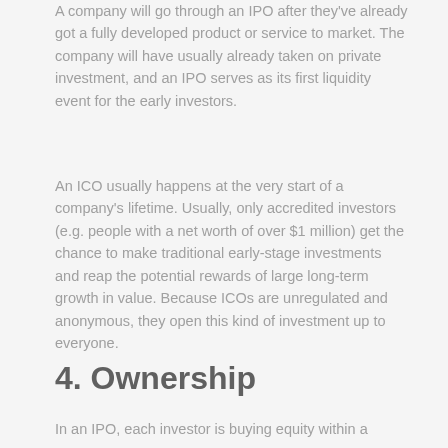A company will go through an IPO after they've already got a fully developed product or service to market. The company will have usually already taken on private investment, and an IPO serves as its first liquidity event for the early investors.
An ICO usually happens at the very start of a company's lifetime. Usually, only accredited investors (e.g. people with a net worth of over $1 million) get the chance to make traditional early-stage investments and reap the potential rewards of large long-term growth in value. Because ICOs are unregulated and anonymous, they open this kind of investment up to everyone.
4. Ownership
In an IPO, each investor is buying equity within a